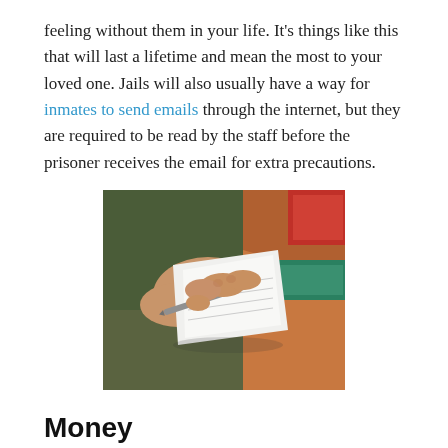feeling without them in your life. It's things like this that will last a lifetime and mean the most to your loved one. Jails will also usually have a way for inmates to send emails through the internet, but they are required to be read by the staff before the prisoner receives the email for extra precautions.
[Figure (photo): A person's hands writing in a notebook with a pen, sitting on a colorful patterned cloth/blanket]
Money
You may wonder why someone would need